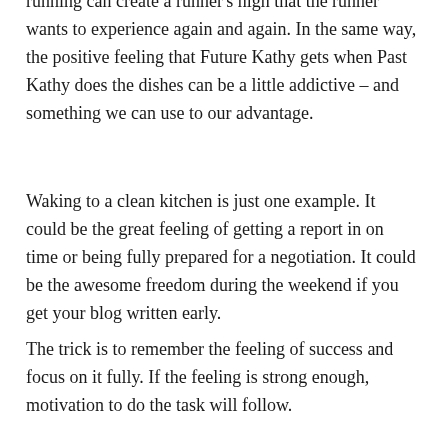running can create a runner's high that the runner wants to experience again and again. In the same way, the positive feeling that Future Kathy gets when Past Kathy does the dishes can be a little addictive – and something we can use to our advantage.
Waking to a clean kitchen is just one example. It could be the great feeling of getting a report in on time or being fully prepared for a negotiation. It could be the awesome freedom during the weekend if you get your blog written early.
The trick is to remember the feeling of success and focus on it fully. If the feeling is strong enough, motivation to do the task will follow.
For a little bit of fun leadership development, join 53 Leadership Challenges at